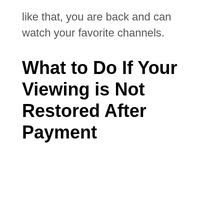like that, you are back and can watch your favorite channels.
What to Do If Your Viewing is Not Restored After Payment